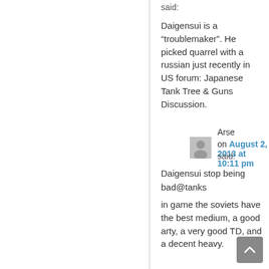said:
Daigensui is a “troublemaker”. He picked quarrel with a russian just recently in US forum: Japanese Tank Tree & Guns Discussion.
Arse
on August 2, 2013 at 10:11 pm
said:
Daigensui stop being bad@tanks
in game the soviets have the best medium, a good arty, a very good TD, and a decent heavy.